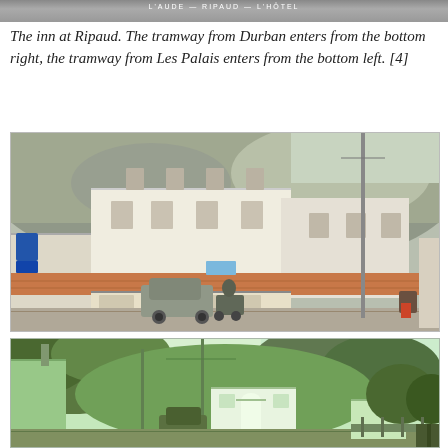[Figure (photo): Partial top strip of old photograph showing text 'L'AUDE - RIPAUD - L'HOTEL' on a dark strip]
The inn at Ripaud. The tramway from Durban enters from the bottom right, the tramway from Les Palais enters from the bottom left. [4]
[Figure (photo): Modern color photograph of the inn at Ripaud - a white multi-story building with tiled roof storefronts, a vehicle parked outside, rocky cliffs in background, blue road sign on left]
[Figure (photo): Old green-tinted postcard photograph of the inn at Ripaud showing the same building in an earlier era with hills, vegetation, and a vehicle in front]